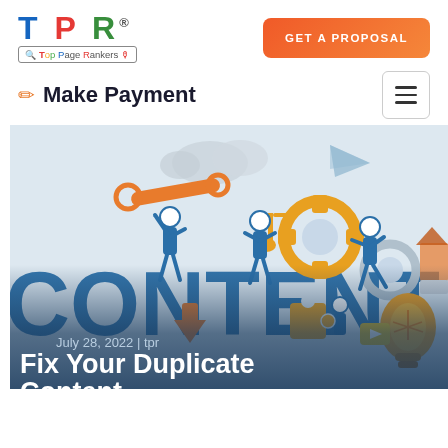[Figure (logo): TPR Top Page Rankers logo with colorful letters T (blue), P (red), R (green) and a search bar-style subtitle]
GET A PROPOSAL
✏ Make Payment
[Figure (illustration): Content marketing illustration with people interacting with large blue CONTENT letters, gears, tools, lightbulb, puzzle pieces, download arrow, music note, paper airplane, and cloud on a light gray background]
July 28, 2022 | tpr
Fix Your Duplicate Content